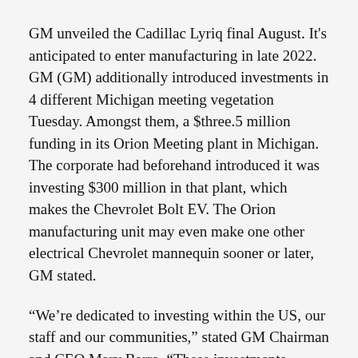GM unveiled the Cadillac Lyriq final August. It's anticipated to enter manufacturing in late 2022. GM (GM) additionally introduced investments in 4 different Michigan meeting vegetation Tuesday. Amongst them, a $three.5 million funding in its Orion Meeting plant in Michigan. The corporate had beforehand introduced it was investing $300 million in that plant, which makes the Chevrolet Bolt EV. The Orion manufacturing unit may even make one other electrical Chevrolet mannequin sooner or later, GM stated.
“We’re dedicated to investing within the US, our staff and our communities,” stated GM Chairman and CEO Mary Barra. “These investments underscore the success of our automobiles right now, and our imaginative and prescient of an all-